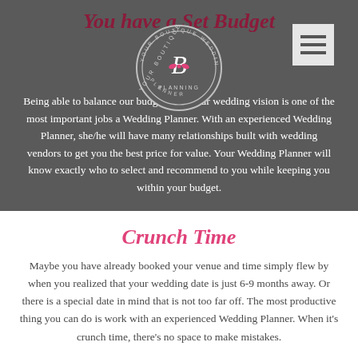You have a Set Budget
[Figure (logo): Your Boutique Wedding Planner circular logo with a stylized B and bow in the center]
Being able to balance your budget with your wedding vision is one of the most important jobs a Wedding Planner. With an experienced Wedding Planner, she/he will have many relationships built with wedding vendors to get you the best price for value. Your Wedding Planner will know exactly who to select and recommend to you while keeping you within your budget.
Crunch Time
Maybe you have already booked your venue and time simply flew by when you realized that your wedding date is just 6-9 months away. Or there is a special date in mind that is not too far off. The most productive thing you can do is work with an experienced Wedding Planner. When it's crunch time, there's no space to make mistakes.